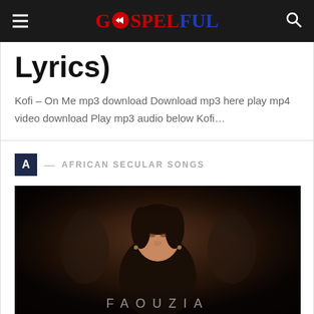GOSPELFUL
Lyrics)
Kofi – On Me mp3 download Download mp3 here play mp4 video download Play mp3 audio below Kofi…
A — AFRICAN SECULAR SONGS
[Figure (photo): Photo of Faouzia, a female singer, with blurred background figures. Text 'FAOUZIA' appears at the bottom of the image.]